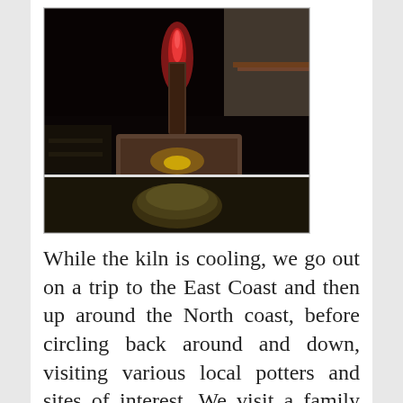[Figure (photo): A nighttime photograph of a wood-fired kiln with a glowing red chimney/stack emitting smoke, with pottery and shelving visible below and around the kiln structure.]
While the kiln is cooling, we go out on a trip to the East Coast and then up around the North coast, before circling back around and down, visiting various local potters and sites of interest. We visit a family that makes a range of woodfired ceramics. I'm particularly taken by